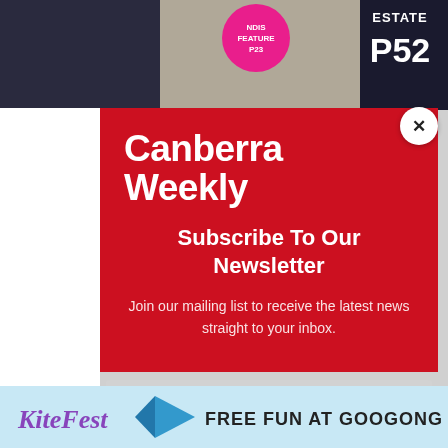[Figure (screenshot): Magazine cover background showing 'NDIS FEATURE P23' pink badge, 'ESTATE P52' text in white on dark background, and a woman's photo]
Canberra Weekly
Subscribe To Our Newsletter
Join our mailing list to receive the latest news straight to your inbox.
Email
SUBSCRIBE!
[Figure (infographic): KiteFest banner: 'KiteFest FREE FUN AT GOOGONG' with kite logo on light blue background]